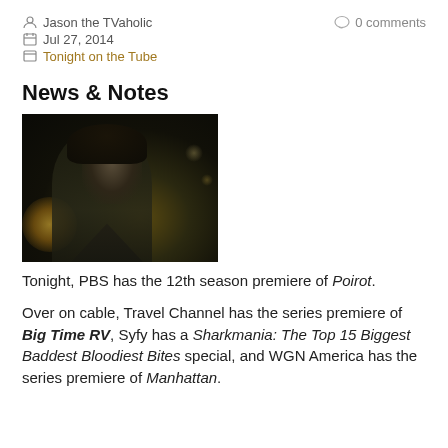Jason the TVaholic
0 comments
Jul 27, 2014
Tonight on the Tube
News & Notes
[Figure (photo): Dark atmospheric photo of a woman looking upward, with blurred bokeh lights in background]
Tonight, PBS has the 12th season premiere of Poirot.
Over on cable, Travel Channel has the series premiere of Big Time RV, Syfy has a Sharkmania: The Top 15 Biggest Baddest Bloodiest Bites special, and WGN America has the series premiere of Manhattan.